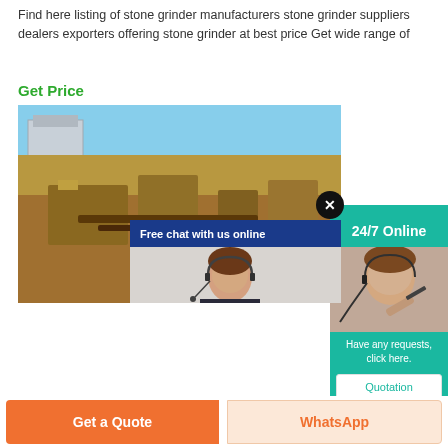Find here listing of stone grinder manufacturers stone grinder suppliers dealers exporters offering stone grinder at best price Get wide range of
Get Price
[Figure (photo): Stone grinding machinery equipment at an industrial site with a chat popup overlay showing a customer service agent and a CHAT NOW button]
[Figure (infographic): Teal side panel showing 24/7 Online support with agent image, Have any requests click here text, Quotation button, and a close X circle button]
Get a Quote
WhatsApp